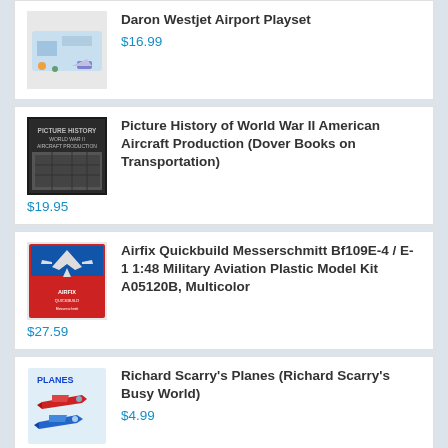Daron Westjet Airport Playset $16.99
Picture History of World War II American Aircraft Production (Dover Books on Transportation) $19.95
Airfix Quickbuild Messerschmitt Bf109E-4 / E-1 1:48 Military Aviation Plastic Model Kit A05120B, Multicolor $27.59
Richard Scarry's Planes (Richard Scarry's Busy World) $4.99
Daron Worldwide Trading Postage Stamp F-4B Phantom II Sundowners Vehicle (1/155 Scale) $30.99